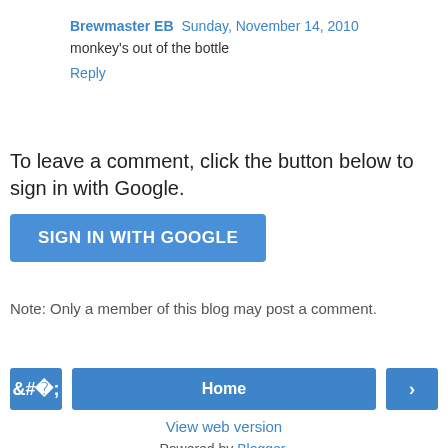Brewmaster EB  Sunday, November 14, 2010
monkey's out of the bottle
Reply
To leave a comment, click the button below to sign in with Google.
[Figure (other): SIGN IN WITH GOOGLE button (blue rounded rectangle)]
Note: Only a member of this blog may post a comment.
[Figure (other): Navigation buttons: left arrow, Home, right arrow]
View web version
Powered by Blogger.